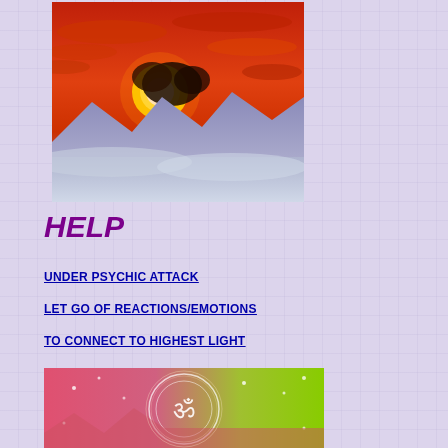[Figure (photo): Dramatic sunset landscape with red-orange sky, glowing sun partially obscured by dark clouds, and blue misty mountains below]
HELP
UNDER PSYCHIC ATTACK
LET GO OF REACTIONS/EMOTIONS
TO CONNECT TO HIGHEST LIGHT
[Figure (illustration): Colorful spiritual illustration with Om symbol, geometric mandala patterns, bright green and red/pink gradient background with light sparkles]